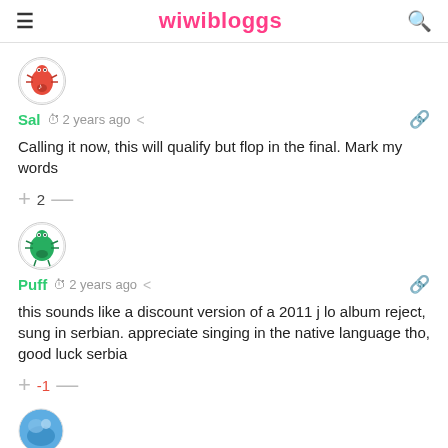wiwibloggs
Sal  2 years ago
Calling it now, this will qualify but flop in the final. Mark my words
+ 2 —
Puff  2 years ago
this sounds like a discount version of a 2011 j lo album reject, sung in serbian. appreciate singing in the native language tho, good luck serbia
+ -1 —